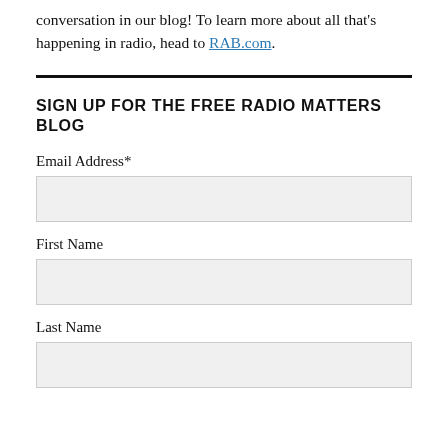conversation in our blog! To learn more about all that's happening in radio, head to RAB.com.
SIGN UP FOR THE FREE RADIO MATTERS BLOG
Email Address*
First Name
Last Name